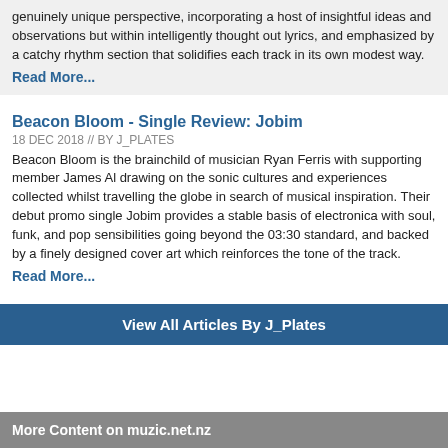genuinely unique perspective, incorporating a host of insightful ideas and observations but within intelligently thought out lyrics, and emphasized by a catchy rhythm section that solidifies each track in its own modest way.
Read More...
Beacon Bloom - Single Review: Jobim
18 DEC 2018 // BY J_PLATES
Beacon Bloom is the brainchild of musician Ryan Ferris with supporting member James Al drawing on the sonic cultures and experiences collected whilst travelling the globe in search of musical inspiration. Their debut promo single Jobim provides a stable basis of electronica with soul, funk, and pop sensibilities going beyond the 03:30 standard, and backed by a finely designed cover art which reinforces the tone of the track.
Read More...
View All Articles By J_Plates
More Content on muzic.net.nz